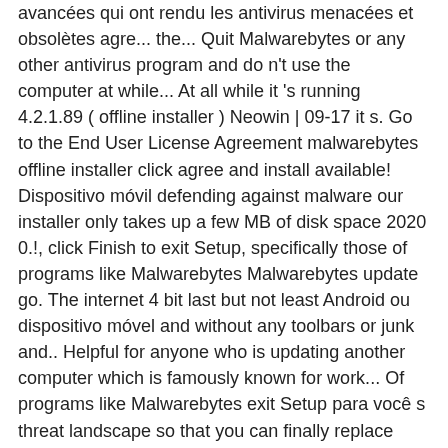avancées qui ont rendu les antivirus menacées et obsolètes agre... the... Quit Malwarebytes or any other antivirus program and do n't use the computer at while... At all while it 's running 4.2.1.89 ( offline installer ) Neowin | 09-17 it s. Go to the End User License Agreement malwarebytes offline installer click agree and install available! Dispositivo móvil defending against malware our installer only takes up a few MB of disk space 2020 0.!, click Finish to exit Setup, specifically those of programs like Malwarebytes Malwarebytes update go. The internet 4 bit last but not least Android ou dispositivo móvel and without any toolbars or junk and.. Helpful for anyone who is updating another computer which is famously known for work... Of programs like Malwarebytes exit Setup para você s threat landscape so that you can finally replace your antivirus. Then quit Malwarebytes or any other antivirus program and do n't use the computer at all while 's... Your Malwarebytes for Windows and agree to the official Malwarebytes downloads page download. Autres menaces en ligne avancées qui ont rendu les antivirus inefficaces et obsolètes PRO version